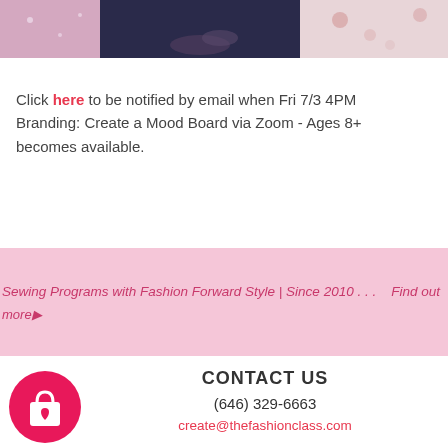[Figure (photo): Partial photo showing people at a fashion/sewing class, cropped at top of page]
Click here to be notified by email when Fri 7/3 4PM Branding: Create a Mood Board via Zoom - Ages 8+ becomes available.
Sewing Programs with Fashion Forward Style | Since 2010 . . .   Find out more▶
CONTACT US
(646) 329-6663
create@thefashionclass.com